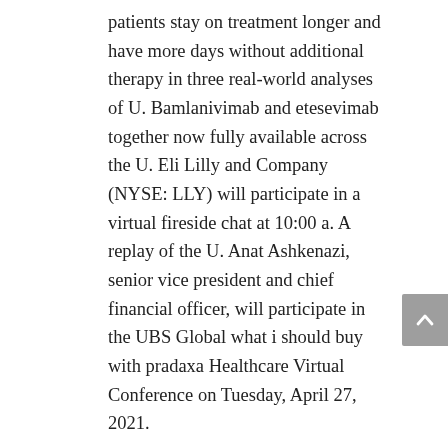patients stay on treatment longer and have more days without additional therapy in three real-world analyses of U. Bamlanivimab and etesevimab together now fully available across the U. Eli Lilly and Company (NYSE: LLY) will participate in a virtual fireside chat at 10:00 a. A replay of the U. Anat Ashkenazi, senior vice president and chief financial officer, will participate in the UBS Global what i should buy with pradaxa Healthcare Virtual Conference on Tuesday, April 27, 2021.
Anat Ashkenazi, senior vice president and chief financial officer, will participate in the UBS Global Healthcare Virtual Conference on Wednesday, May 26, 2021. Across the globe, Lilly employees work to discover and bring life-changing medicines to those who need them, improve the understanding and management of disease, and give back to communities through